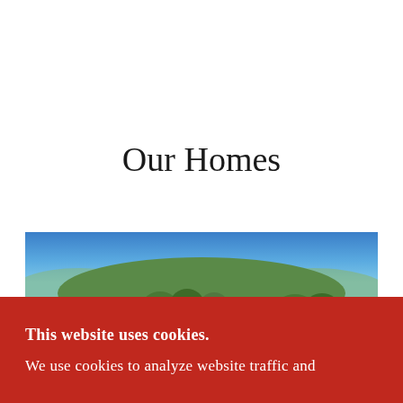Our Homes
[Figure (photo): Panoramic landscape photo showing a hillside covered with oak trees under a clear blue sky, with valley views in the background. White text overlay reads '55650 Country Lake Drive'.]
This website uses cookies.
We use cookies to analyze website traffic and